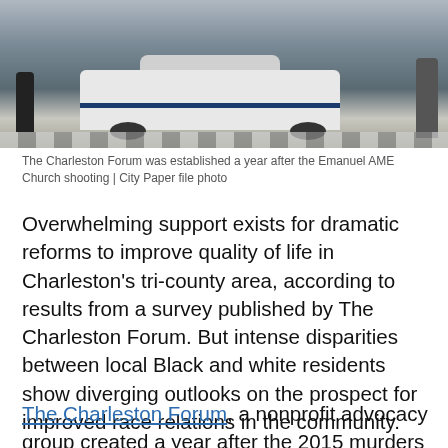[Figure (photo): Police car with officers standing near it at a crosswalk, black and white police vehicle]
The Charleston Forum was established a year after the Emanuel AME Church shooting | City Paper file photo
Overwhelming support exists for dramatic reforms to improve quality of life in Charleston's tri-county area, according to results from a survey published by The Charleston Forum. But intense disparities between local Black and white residents show diverging outlooks on the prospect for improved race relations in the community.
The Charleston Forum, a nonprofit advocacy group created a year after the 2015 murders at Emanuel